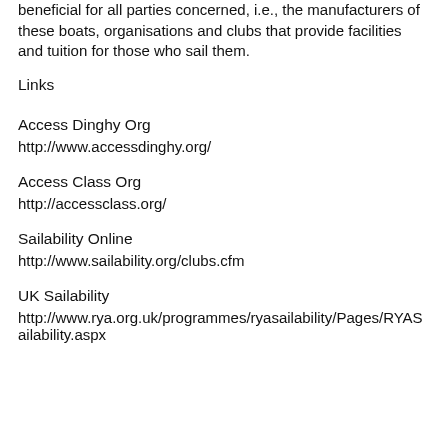beneficial for all parties concerned, i.e., the manufacturers of these boats, organisations and clubs that provide facilities and tuition for those who sail them.
Links
Access Dinghy Org
http://www.accessdinghy.org/
Access Class Org
http://accessclass.org/
Sailability Online
http://www.sailability.org/clubs.cfm
UK Sailability
http://www.rya.org.uk/programmes/ryasailability/Pages/RYASailability.aspx